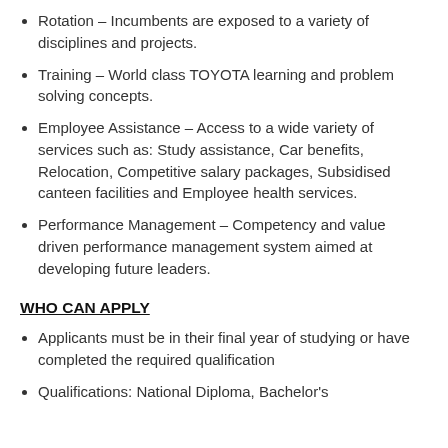Rotation – Incumbents are exposed to a variety of disciplines and projects.
Training – World class TOYOTA learning and problem solving concepts.
Employee Assistance – Access to a wide variety of services such as: Study assistance, Car benefits, Relocation, Competitive salary packages, Subsidised canteen facilities and Employee health services.
Performance Management – Competency and value driven performance management system aimed at developing future leaders.
WHO CAN APPLY
Applicants must be in their final year of studying or have completed the required qualification
Qualifications: National Diploma, Bachelor's